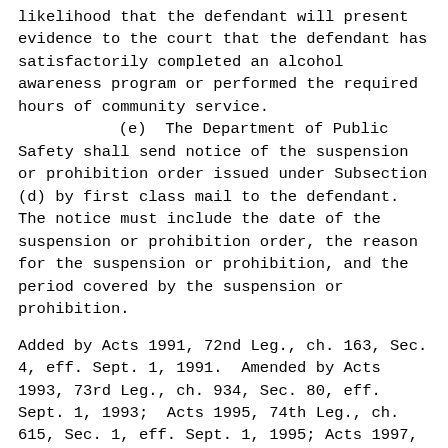likelihood that the defendant will present evidence to the court that the defendant has satisfactorily completed an alcohol awareness program or performed the required hours of community service.
(e)  The Department of Public Safety shall send notice of the suspension or prohibition order issued under Subsection (d) by first class mail to the defendant. The notice must include the date of the suspension or prohibition order, the reason for the suspension or prohibition, and the period covered by the suspension or prohibition.
Added by Acts 1991, 72nd Leg., ch. 163, Sec. 4, eff. Sept. 1, 1991.  Amended by Acts 1993, 73rd Leg., ch. 934, Sec. 80, eff. Sept. 1, 1993;  Acts 1995, 74th Leg., ch. 615, Sec. 1, eff. Sept. 1, 1995;  Acts 1997,